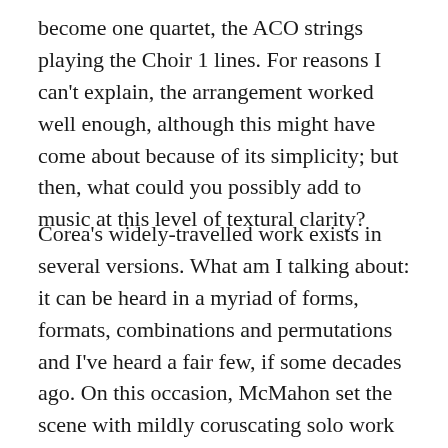become one quartet, the ACO strings playing the Choir 1 lines. For reasons I can't explain, the arrangement worked well enough, although this might have come about because of its simplicity; but then, what could you possibly add to music at this level of textural clarity?
Corea's widely-travelled work exists in several versions. What am I talking about: it can be heard in a myriad of forms, formats, combinations and permutations and I've heard a fair few, if some decades ago. On this occasion, McMahon set the scene with mildly coruscating solo work before he was joined by various collaborating bodies. Not that it was all piano, or all Slater, even if these players gave us